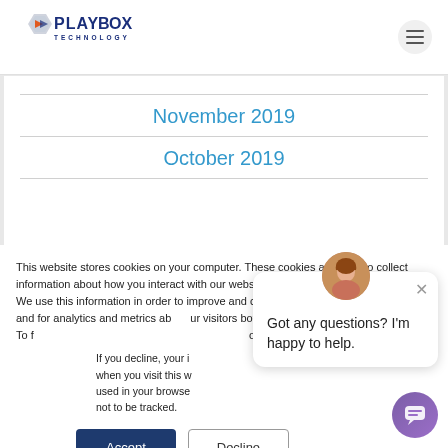[Figure (logo): PlayBox Technology logo with hexagonal icon and blue text]
November 2019
October 2019
This website stores cookies on your computer. These cookies are used to collect information about how you interact with our website and allow us to remember you. We use this information in order to improve and customize your browsing experience and for analytics and metrics about our visitors both on this website and other media. To find out more about the cookies we use, see our Privacy Policy.
If you decline, your information won't be tracked when you visit this website. A single cookie will be used in your browser to remember your preference not to be tracked.
[Figure (screenshot): Chat popup widget with female avatar, close button, and message: Got any questions? I'm happy to help.]